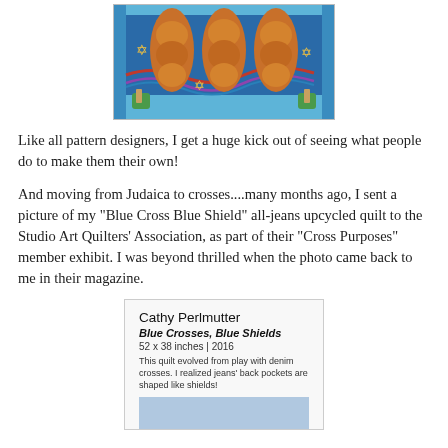[Figure (photo): A colorful Judaica quilt with blue background, featuring three large braided challah bread shapes in golden-brown, decorated with Jewish stars, ribbons, and small figurines at the corners.]
Like all pattern designers, I get a huge kick out of seeing what people do to make them their own!
And moving from Judaica to crosses....many months ago, I sent a picture of my "Blue Cross Blue Shield" all-jeans upcycled quilt to the Studio Art Quilters' Association, as part of their "Cross Purposes" member exhibit. I was beyond thrilled when the photo came back to me in their magazine.
[Figure (screenshot): A magazine entry card for Cathy Perlmutter's quilt 'Blue Crosses, Blue Shields', 52 x 38 inches, 2016, with description text and a photo strip of the quilt at the bottom.]